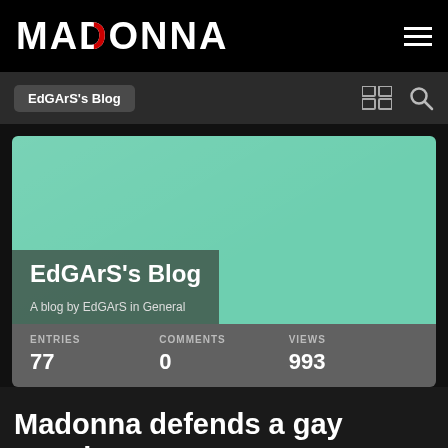MADONNA
EdGArS's Blog
[Figure (screenshot): Blog header card showing EdGArS's Blog on a mint/teal green background with semi-transparent dark overlay containing blog title and subtitle, plus stats bar showing Entries: 77, Comments: 0, Views: 993]
Madonna defends a gay couple